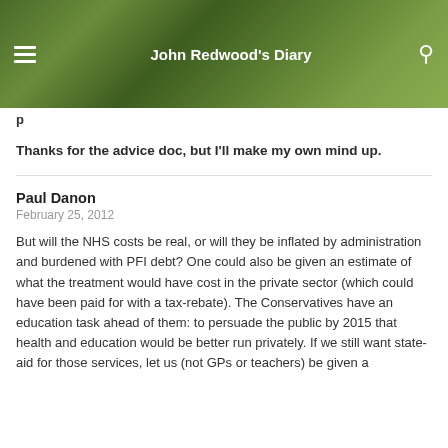John Redwood's Diary
Thanks for the advice doc, but I'll make my own mind up.
Paul Danon
February 25, 2012
But will the NHS costs be real, or will they be inflated by administration and burdened with PFI debt? One could also be given an estimate of what the treatment would have cost in the private sector (which could have been paid for with a tax-rebate). The Conservatives have an education task ahead of them: to persuade the public by 2015 that health and education would be better run privately. If we still want state-aid for those services, let us (not GPs or teachers) be given a